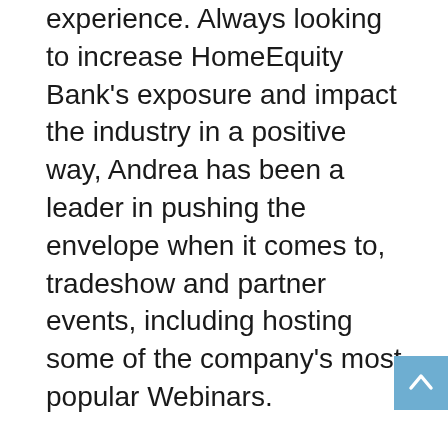experience. Always looking to increase HomeEquity Bank's exposure and impact the industry in a positive way, Andrea has been a leader in pushing the envelope when it comes to, tradeshow and partner events, including hosting some of the company's most popular Webinars.
Under her leadership, her team of mortgage specialists have experienced growth of over 108%. Her success in mentoring and leading a team of over 18 comes from her own success when she was a mortgage specialist where she broke company sales records. Her drive is equaled only by her care for her team, which have resulted in tremendous results and